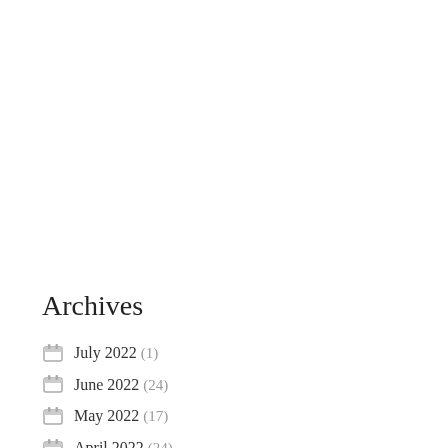Archives
July 2022 (1)
June 2022 (24)
May 2022 (17)
April 2022 (24)
March 2022 (29)